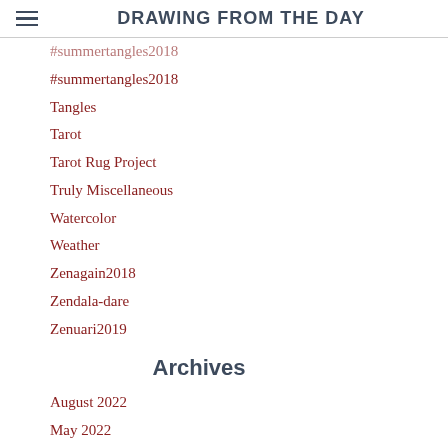DRAWING FROM THE DAY
#summertangles2018
Tangles
Tarot
Tarot Rug Project
Truly Miscellaneous
Watercolor
Weather
Zenagain2018
Zendala-dare
Zenuari2019
Archives
August 2022
May 2022
April 2022
March 2022
February 2022
January 2022